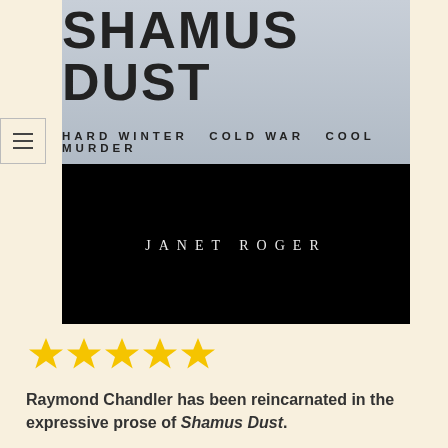[Figure (illustration): Book cover for 'Shamus Dust' by Janet Roger. Top half is silver/grey with large bold title text 'SHAMUS DUST' and subtitle 'HARD WINTER  COLD WAR  COOL MURDER'. Bottom half is solid black with author name 'JANET ROGER' in spaced white letters.]
[Figure (illustration): Five gold/yellow star rating icons indicating a 5-star review.]
Raymond Chandler has been reincarnated in the expressive prose of Shamus Dust.